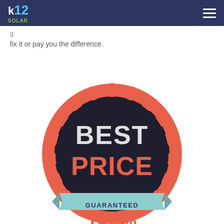K12 Solar
g... fix it or pay you the difference.
[Figure (illustration): Best Price Guaranteed badge/seal with dark navy scalloped circular shape, coral/red-orange outer scalloped ring, text 'BEST PRICE' in white and orange bold letters, 'GUARANTEED' on a light teal/mint ribbon banner, '100%' in orange text below]